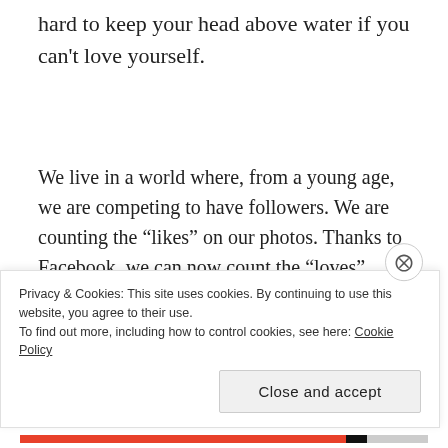hard to keep your head above water if you can't love yourself.
We live in a world where, from a young age, we are competing to have followers. We are counting the "likes" on our photos. Thanks to Facebook, we can now count the "loves" "hahas" "wows" "sads" and "angrys" – as if we didn't have enough to think about.
Privacy & Cookies: This site uses cookies. By continuing to use this website, you agree to their use. To find out more, including how to control cookies, see here: Cookie Policy
Close and accept